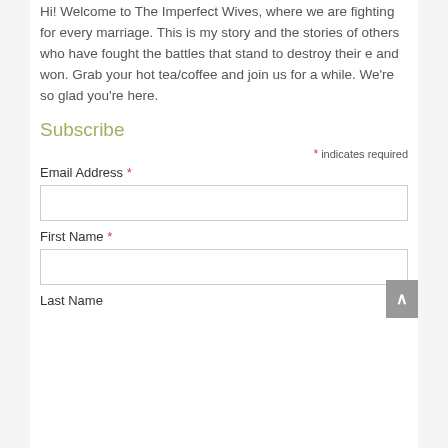Hi! Welcome to The Imperfect Wives, where we are fighting for every marriage. This is my story and the stories of others who have fought the battles that stand to destroy their e and won. Grab your hot tea/coffee and join us for a while. We’re so glad you’re here.
Subscribe
* indicates required
Email Address *
First Name *
Last Name